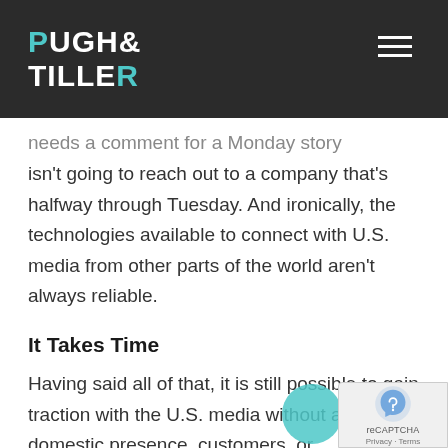PUGH & TILLER
needs a comment for a Monday story isn't going to reach out to a company that's halfway through Tuesday. And ironically, the technologies available to connect with U.S. media from other parts of the world aren't always reliable.
It Takes Time
Having said all of that, it is still possible to gain traction with the U.S. media without any domestic presence, customers, or connections.  The climb